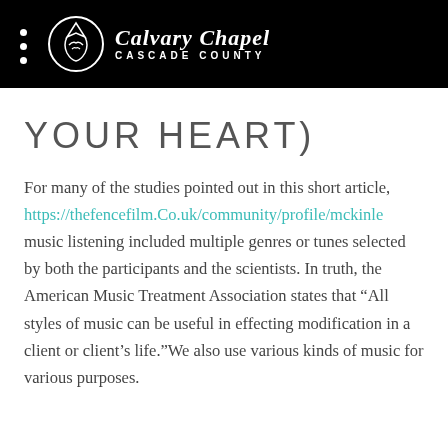Calvary Chapel CASCADE COUNTY
YOUR HEART)
For many of the studies pointed out in this short article, https://thefencefilm.Co.uk/community/profile/mckinle music listening included multiple genres or tunes selected by both the participants and the scientists. In truth, the American Music Treatment Association states that “All styles of music can be useful in effecting modification in a client or client’s life.”We also use various kinds of music for various purposes.